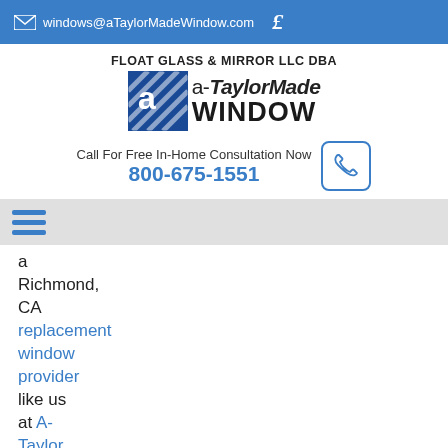windows@aTaylorMadeWindow.com
[Figure (logo): a-TaylorMade Window logo with blue diamond shape and company name]
FLOAT GLASS & MIRROR LLC DBA
Call For Free In-Home Consultation Now 800-675-1551
a Richmond, CA replacement window provider like us at A-Taylor Made Window. We are